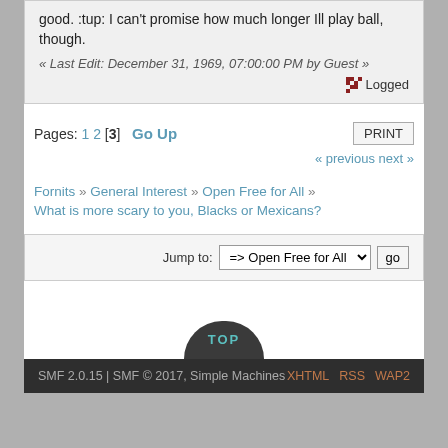good.  :tup:  I can't promise how much longer Ill play ball, though.
« Last Edit: December 31, 1969, 07:00:00 PM by Guest »
Logged
Pages: 1 2 [3]   Go Up
PRINT
« previous next »
Fornits » General Interest » Open Free for All »
What is more scary to you, Blacks or Mexicans?
Jump to: => Open Free for All  go
SMF 2.0.15 | SMF © 2017, Simple Machines      XHTML  RSS  WAP2